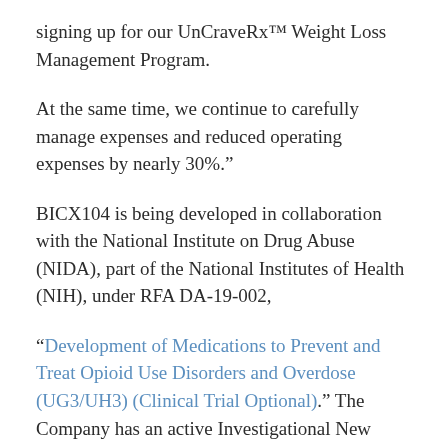signing up for our UnCraveRx™ Weight Loss Management Program.
At the same time, we continue to carefully manage expenses and reduced operating expenses by nearly 30%."
BICX104 is being developed in collaboration with the National Institute on Drug Abuse (NIDA), part of the National Institutes of Health (NIH), under RFA DA-19-002,
“Development of Medications to Prevent and Treat Opioid Use Disorders and Overdose (UG3/UH3) (Clinical Trial Optional).” The Company has an active Investigational New